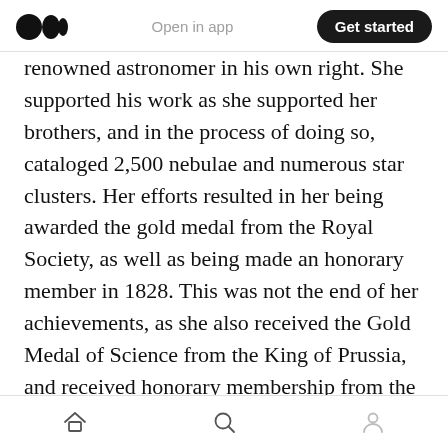Medium logo | Open in app | Get started
renowned astronomer in his own right. She supported his work as she supported her brothers, and in the process of doing so, cataloged 2,500 nebulae and numerous star clusters. Her efforts resulted in her being awarded the gold medal from the Royal Society, as well as being made an honorary member in 1828. This was not the end of her achievements, as she also received the Gold Medal of Science from the King of Prussia, and received honorary membership from the Royal Irish Academy. Beyond this, she was immensely respected in the
Home | Search | Profile